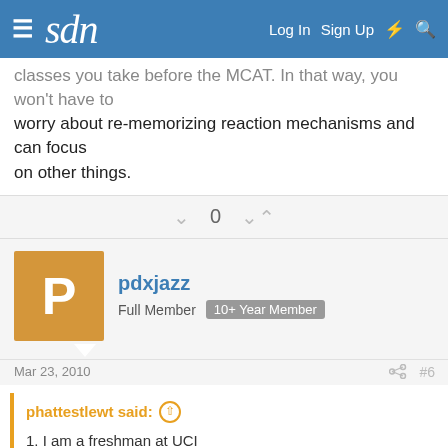sdn — Log In  Sign Up
classes you take before the MCAT. In that way, you won't have to worry about re-memorizing reaction mechanisms and can focus on other things.
0
pdxjazz
Full Member  10+ Year Member
Mar 23, 2010   #6
phattestlewt said:
1. I am a freshman at UCI
2. From what i have read both on here and heard elsewhere, LEARN the material while you are taking the course and learn for the knowledge not for the A.

With those two premises, i pose forth a question...

I am taking Physics during the third quarter of my freshman year...  Click to expand